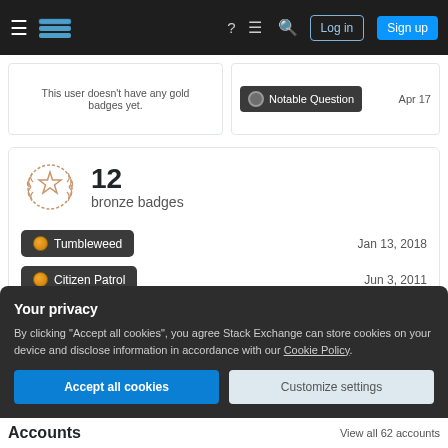Stack Exchange navigation bar with hamburger menu, logo, help, chat, search, Log in, Sign up
This user doesn't have any gold badges yet.
Notable Question  Apr 17
12
bronze badges
Tumbleweed  Jan 13, 2018
Citizen Patrol  Jun 3, 2011
Commentator  Jun 3, 2011
Your privacy
By clicking "Accept all cookies", you agree Stack Exchange can store cookies on your device and disclose information in accordance with our Cookie Policy.
Accept all cookies
Customize settings
Accounts
View all 62 accounts